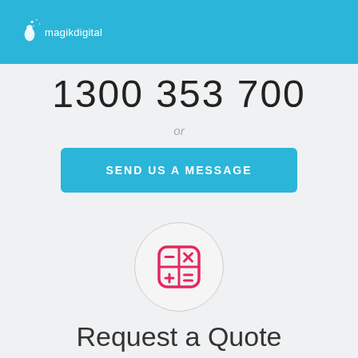magikdigital
1300 353 700
or
SEND US A MESSAGE
[Figure (illustration): Calculator icon inside a light gray circle]
Request a Quote
How much will you need to build your website?